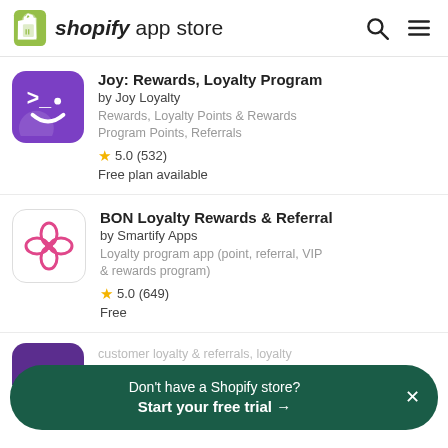shopify app store
Joy: Rewards, Loyalty Program
by Joy Loyalty
Rewards, Loyalty Points & Rewards Program Points, Referrals
5.0 (532)
Free plan available
BON Loyalty Rewards & Referral
by Smartify Apps
Loyalty program app (point, referral, VIP & rewards program)
5.0 (649)
Free
Don't have a Shopify store? Start your free trial →